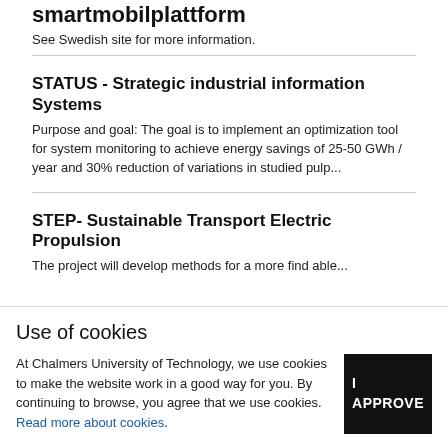smartmobilplattform
See Swedish site for more information.
STATUS - Strategic industrial information Systems
Purpose and goal: The goal is to implement an optimization tool for system monitoring to achieve energy savings of 25-50 GWh / year and 30% reduction of variations in studied pulp...
STEP- Sustainable Transport Electric Propulsion
The project will develop methods for...
Use of cookies
At Chalmers University of Technology, we use cookies to make the website work in a good way for you. By continuing to browse, you agree that we use cookies. Read more about cookies.